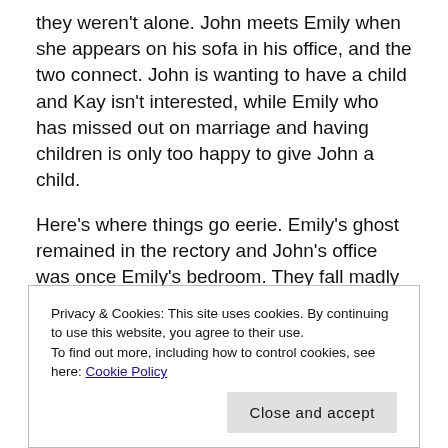they weren't alone. John meets Emily when she appears on his sofa in his office, and the two connect. John is wanting to have a child and Kay isn't interested, while Emily who has missed out on marriage and having children is only too happy to give John a child.
Here's where things go eerie. Emily's ghost remained in the rectory and John's office was once Emily's bedroom. They fall madly in love, and the fun begins when John's wife Kay discovers the relationship her husband has with the ghostly Emily and discovers John impregnated Emily.
Privacy & Cookies: This site uses cookies. By continuing to use this website, you agree to their use.
To find out more, including how to control cookies, see here: Cookie Policy
Close and accept
Emily's decisions and wroths.